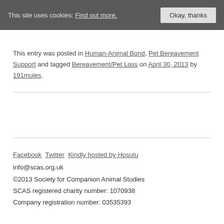This site uses cookies: Find out more. Okay, thanks
This entry was posted in Human-Animal Bond, Pet Bereavement Support and tagged Bereavement/Pet Loss on April 30, 2013 by 191mules.
Facebook Twitter Kindly hosted by Hosutu
info@scas.org.uk
©2013 Society for Companion Animal Studies
SCAS registered charity number: 1070938
Company registration number: 03535393